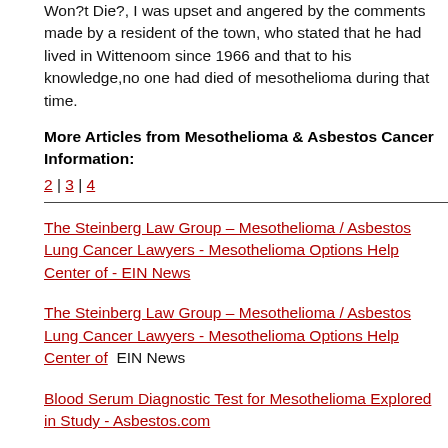Won?t Die?, I was upset and angered by the comments made by a resident of the town, who stated that he had lived in Wittenoom since 1966 and that to his knowledge,no one had died of mesothelioma during that time.
More Articles from Mesothelioma & Asbestos Cancer Information:
2 | 3 | 4
The Steinberg Law Group – Mesothelioma / Asbestos Lung Cancer Lawyers - Mesothelioma Options Help Center of - EIN News
The Steinberg Law Group – Mesothelioma / Asbestos Lung Cancer Lawyers - Mesothelioma Options Help Center of  EIN News
Blood Serum Diagnostic Test for Mesothelioma Explored in Study - Asbestos.com